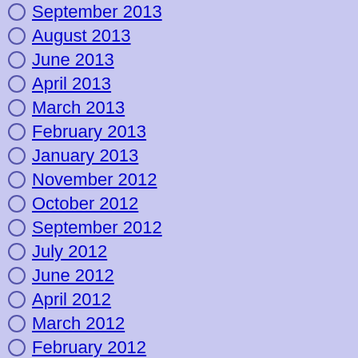September 2013
August 2013
June 2013
April 2013
March 2013
February 2013
January 2013
November 2012
October 2012
September 2012
July 2012
June 2012
April 2012
March 2012
February 2012
January 2012